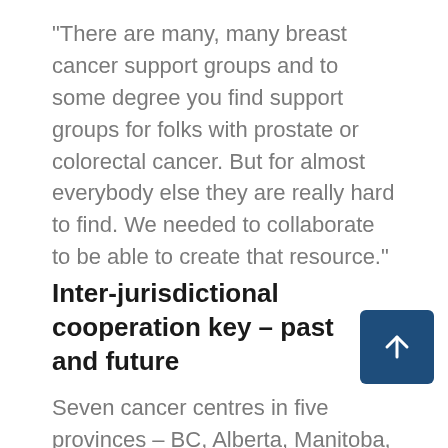“There are many, many breast cancer support groups and to some degree you find support groups for folks with prostate or colorectal cancer. But for almost everybody else they are really hard to find. We needed to collaborate to be able to create that resource.”
Inter-jurisdictional cooperation key – past and future
Seven cancer centres in five provinces – BC, Alberta, Manitoba, Ontario, and Nova